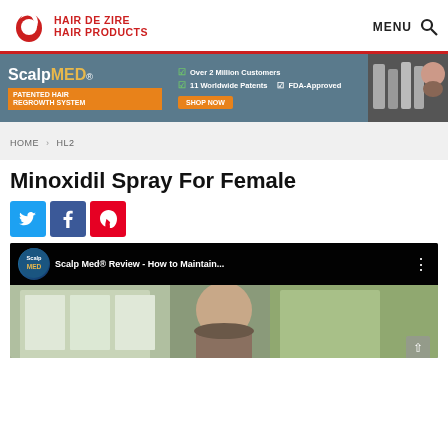HAIR DE ZIRE HAIR PRODUCTS | MENU
[Figure (infographic): ScalpMED advertisement banner: Over 2 Million Customers, 11 Worldwide Patents, FDA-Approved, Patented Hair Regrowth System, Shop Now button, product photos on right]
HOME > HL2
Minoxidil Spray For Female
[Figure (infographic): Social share buttons: Twitter (blue), Facebook (dark blue), Pinterest (red)]
[Figure (screenshot): YouTube video thumbnail: Scalp Med® Review - How to Maintain... with channel logo and three-dot menu. Shows a person in a video frame.]